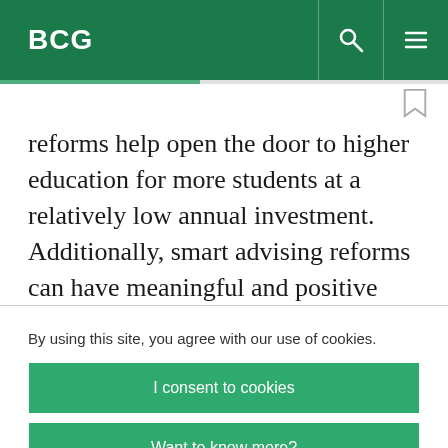BCG
reforms help open the door to higher education for more students at a relatively low annual investment. Additionally, smart advising reforms can have meaningful and positive spillover effects to other areas of student success. Each institution's
By using this site, you agree with our use of cookies.
I consent to cookies
Want to know more?
Read our Cookie Policy